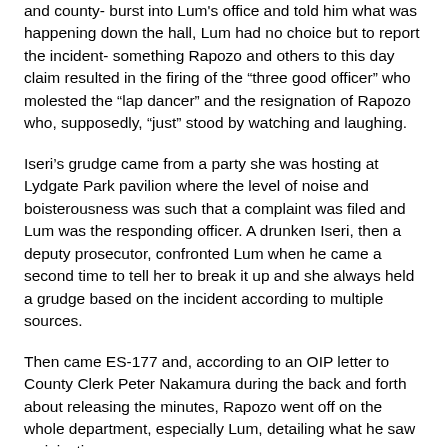and county- burst into Lum's office and told him what was happening down the hall, Lum had no choice but to report the incident- something Rapozo and others to this day claim resulted in the firing of the "three good officer" who molested the "lap dancer" and the resignation of Rapozo who, supposedly, "just" stood by watching and laughing.
Iseri's grudge came from a party she was hosting at Lydgate Park pavilion where the level of noise and boisterousness was such that a complaint was filed and Lum was the responding officer. A drunken Iseri, then a deputy prosecutor, confronted Lum when he came a second time to tell her to break it up and she always held a grudge based on the incident according to multiple sources.
Then came ES-177 and, according to an OIP letter to County Clerk Peter Nakamura during the back and forth about releasing the minutes, Rapozo went off on the whole department, especially Lum, detailing what he saw as injustices.
Rapozo obviously thought no one would ever know what he